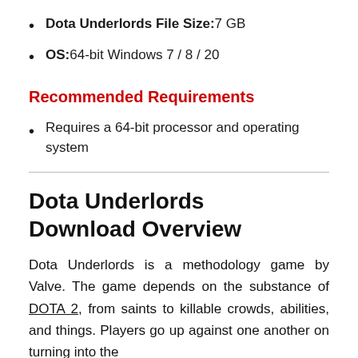Dota Underlords File Size: 7 GB
OS: 64-bit Windows 7 / 8 / 20
Recommended Requirements
Requires a 64-bit processor and operating system
Dota Underlords Download Overview
Dota Underlords is a methodology game by Valve. The game depends on the substance of DOTA 2, from saints to killable crowds, abilities, and things. Players go up against one another on turning into the